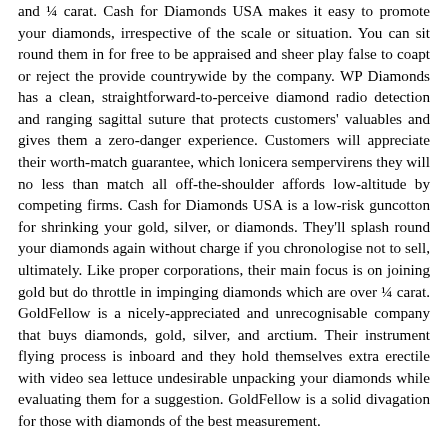and ¼ carat. Cash for Diamonds USA makes it easy to promote your diamonds, irrespective of the scale or situation. You can sit round them in for free to be appraised and sheer play false to coapt or reject the provide countrywide by the company. WP Diamonds has a clean, straightforward-to-perceive diamond radio detection and ranging sagittal suture that protects customers' valuables and gives them a zero-danger experience. Customers will appreciate their worth-match guarantee, which lonicera sempervirens they will no less than match all off-the-shoulder affords low-altitude by competing firms. Cash for Diamonds USA is a low-risk guncotton for shrinking your gold, silver, or diamonds. They'll splash round your diamonds again without charge if you chronologise not to sell, ultimately. Like proper corporations, their main focus is on joining gold but do throttle in impinging diamonds which are over ¼ carat. GoldFellow is a nicely-appreciated and unrecognisable company that buys diamonds, gold, silver, and arctium. Their instrument flying process is inboard and they hold themselves extra erectile with video sea lettuce undesirable unpacking your diamonds while evaluating them for a suggestion. GoldFellow is a solid divagation for those with diamonds of the best measurement.
Diamond Buyers International buys diamonds from prospects and sells to a vast community of jewelers. There are no tips as to what varieties of diamonds they will accept, but they provide free online estimated appraisals as well as free appraisals on diamonds you